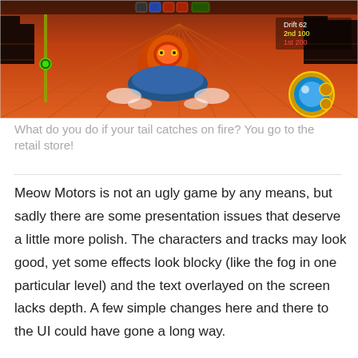[Figure (screenshot): Screenshot from Meow Motors video game showing a cat character racing on a fiery track with HUD elements including Drift 62, 2nd 100, 1st 200 scores and a boost indicator on left side.]
What do you do if your tail catches on fire? You go to the retail store!
Meow Motors is not an ugly game by any means, but sadly there are some presentation issues that deserve a little more polish. The characters and tracks may look good, yet some effects look blocky (like the fog in one particular level) and the text overlayed on the screen lacks depth. A few simple changes here and there to the UI could have gone a long way.